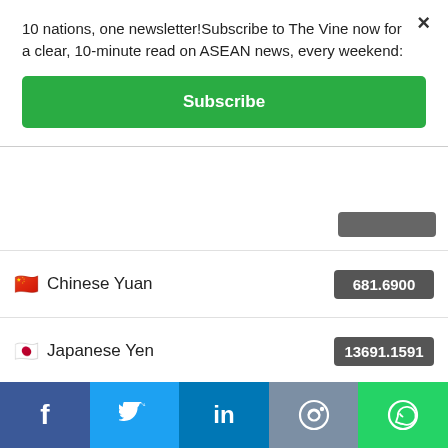10 nations, one newsletter!Subscribe to The Vine now for a clear, 10-minute read on ASEAN news, every weekend:
Subscribe
| Currency | Value |
| --- | --- |
| Chinese Yuan | 681.6900 |
| Japanese Yen | 13691.1591 |
| Russian Ruble | 5950.0006 |
22 Aug, 2022
Exchange Rate USD: Mon, 22 Aug.
Facebook  Twitter  LinkedIn  Reddit  WhatsApp